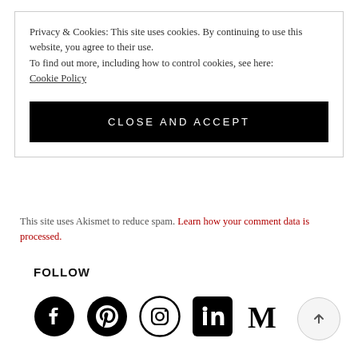Privacy & Cookies: This site uses cookies. By continuing to use this website, you agree to their use.
To find out more, including how to control cookies, see here:
Cookie Policy
CLOSE AND ACCEPT
This site uses Akismet to reduce spam. Learn how your comment data is processed.
FOLLOW
[Figure (infographic): Social media icons: Facebook, Pinterest, Instagram, LinkedIn, Medium]